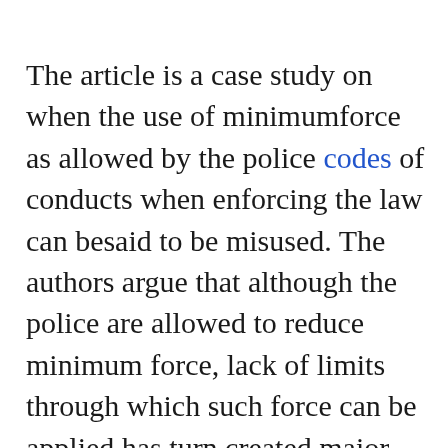The article is a case study on when the use of minimumforce as allowed by the police codes of conducts when enforcing the law can besaid to be misused. The authors argue that although the police are allowed to reduce minimum force, lack of limits through which such force can be applied has turn created major problem in many countries when the force has been used excessively. The article